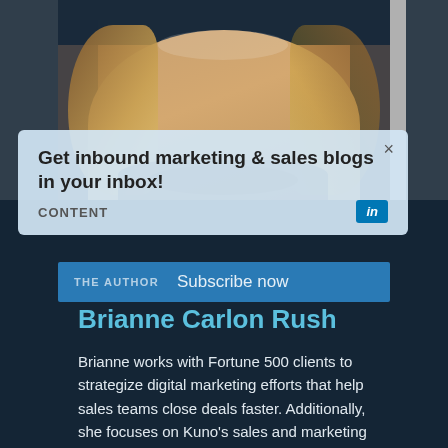[Figure (photo): Photo of author Brianne Carlon Rush with long wavy hair against a dark background, partially visible at the top of the page.]
Get inbound marketing & sales blogs in your inbox!
CONTENT
in
THE AUTHOR   Subscribe now
Brianne Carlon Rush
Brianne works with Fortune 500 clients to strategize digital marketing efforts that help sales teams close deals faster. Additionally, she focuses on Kuno's sales and marketing alignment and employee empowerment. Prior to Kuno, Brianne helped market OverDrive, the leading digital reading platform for libraries and schools, and was the youngest